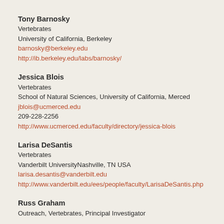Tony Barnosky
Vertebrates
University of California, Berkeley
barnosky@berkeley.edu
http://ib.berkeley.edu/labs/barnosky/
Jessica Blois
Vertebrates
School of Natural Sciences, University of California, Merced
jblois@ucmerced.edu
209-228-2256
http://www.ucmerced.edu/faculty/directory/jessica-blois
Larisa DeSantis
Vertebrates
Vanderbilt UniversityNashville, TN USA
larisa.desantis@vanderbilt.edu
http://www.vanderbilt.edu/ees/people/faculty/LarisaDeSantis.php
Russ Graham
Outreach, Vertebrates, Principal Investigator